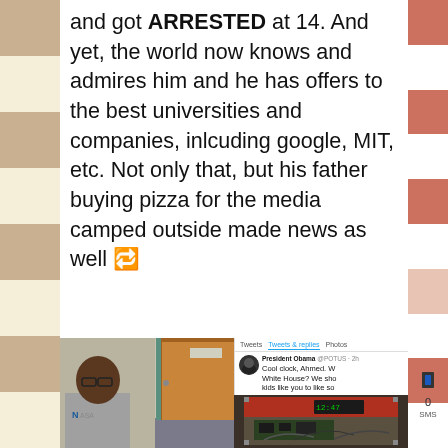and got ARRESTED at 14. And yet, the world now knows and admires him and he has offers to the best universities and companies, inlcuding google, MIT, etc. Not only that, but his father buying pizza for the media camped outside made news as well 🔁
[Figure (photo): Left: a teenage boy wearing a NASA t-shirt standing near a wooden door in a hallway. Right top: a screenshot of a tweet from President Obama @POTUS saying 'Cool clock, Ahmed. W... White House? We sho... kids like you to like so... makes America great.' with 178,503 retweets and 160,651 favorites, posted 12:59 PM - 16 Sep 2015. Right bottom: photo of an open briefcase containing circuit boards and electronic components (the homemade clock).]